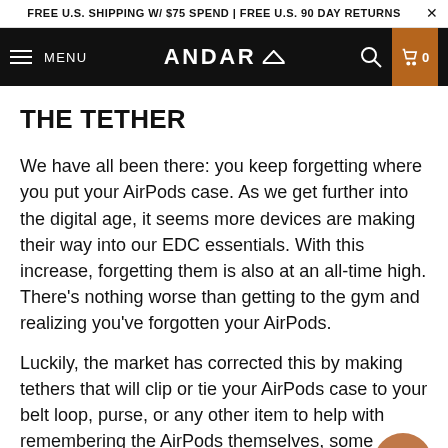FREE U.S. SHIPPING W/ $75 SPEND | FREE U.S. 90 DAY RETURNS
ANDAR — MENU
THE TETHER
We have all been there: you keep forgetting where you put your AirPods case. As we get further into the digital age, it seems more devices are making their way into our EDC essentials. With this increase, forgetting them is also at an all-time high. There's nothing worse than getting to the gym and realizing you've forgotten your AirPods.
Luckily, the market has corrected this by making tethers that will clip or tie your AirPods case to your belt loop, purse, or any other item to help with remembering the AirPods themselves, some tethers are a case and clip in one, such